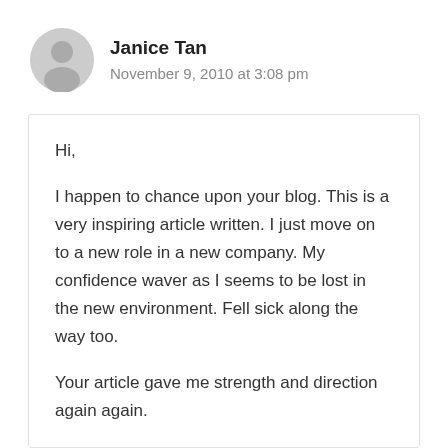Janice Tan
November 9, 2010 at 3:08 pm
Hi,

I happen to chance upon your blog. This is a very inspiring article written. I just move on to a new role in a new company. My confidence waver as I seems to be lost in the new environment. Fell sick along the way too.

Your article gave me strength and direction again again.